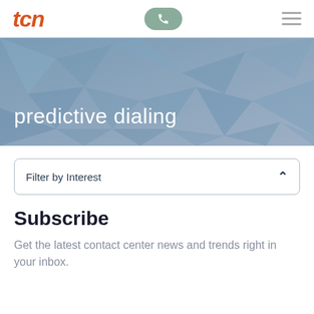[Figure (logo): TCN logo in orange italic bold text, phone icon button in sage green, hamburger menu icon in gray]
[Figure (photo): Hero banner with blue-grey geometric polygon background pattern and white text reading 'predictive dialing']
predictive dialing
Filter by Interest
Subscribe
Get the latest contact center news and trends right in your inbox.